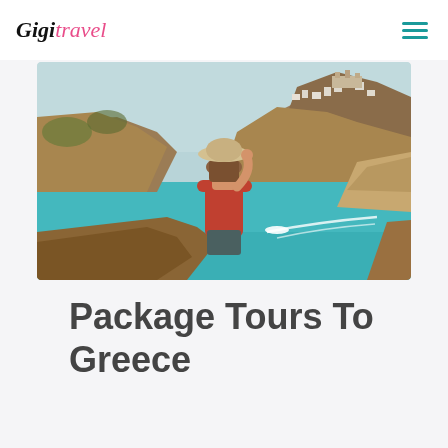Gigi Travel
[Figure (photo): Woman wearing a straw hat, viewed from behind, overlooking a scenic Greek coastal town with blue waters, white buildings on a hillside, and a boat wake in the bay.]
Package Tours To Greece